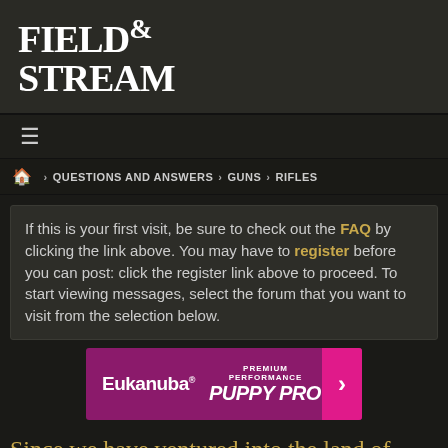[Figure (logo): Field & Stream magazine logo in white serif font on dark background]
≡
🏠 › QUESTIONS AND ANSWERS › GUNS › RIFLES
If this is your first visit, be sure to check out the FAQ by clicking the link above. You may have to register before you can post: click the register link above to proceed. To start viewing messages, select the forum that you want to visit from the selection below.
[Figure (illustration): Eukanuba Premium Performance Puppy Pro advertisement banner with pink/magenta background]
Since we have ventured into the land of